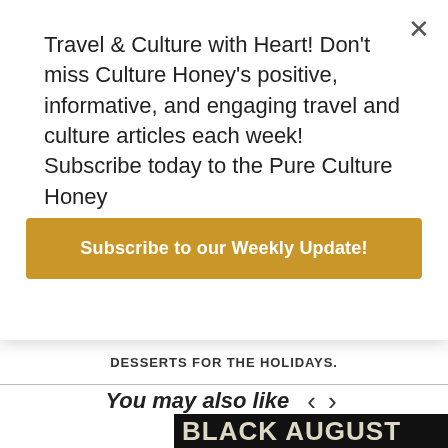Travel & Culture with Heart! Don't miss Culture Honey's positive, informative, and engaging travel and culture articles each week! Subscribe today to the Pure Culture Honey
Subscribe to our Weekly Update!
DESSERTS FOR THE HOLIDAYS.
You may also like
[Figure (photo): Black August text graphic in large bold white letters on black background]